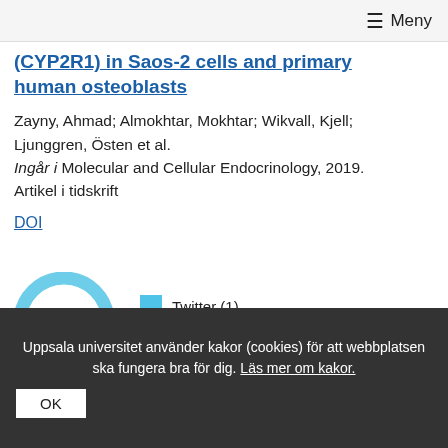≡ Meny
(CYP2R1) in Saos-2 cells and primary human osteoblasts
Zayny, Ahmad; Almokhtar, Mokhtar; Wikvall, Kjell; Ljunggren, Östen et al.
Ingår i Molecular and Cellular Endocrinology, 2019.
Artikel i tidskrift
DOI
[Figure (donut-chart): Altmetric donut chart showing score of 1, with Twitter (1) and Mendeley (14) legend items]
Hudot oss i the CYP2R1
Uppsala universitet använder kakor (cookies) för att webbplatsen ska fungera bra för dig. Läs mer om kakor.
OK